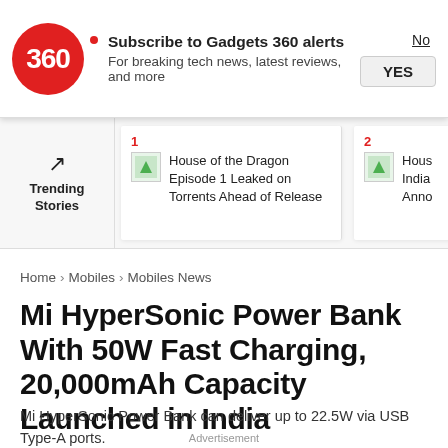Subscribe to Gadgets 360 alerts — For breaking tech news, latest reviews, and more
[Figure (infographic): Trending Stories section with trending arrow icon, showing story 1: House of the Dragon Episode 1 Leaked on Torrents Ahead of Release, and story 2: partial text (Hous... India... Anno...)]
Home > Mobiles > Mobiles News
Mi HyperSonic Power Bank With 50W Fast Charging, 20,000mAh Capacity Launched in India
Mi HyperSonic Power Bank can deliver up to 22.5W via USB Type-A ports.
Advertisement